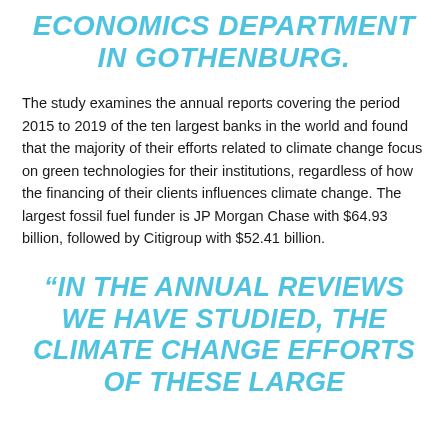ECONOMICS DEPARTMENT IN GOTHENBURG.
The study examines the annual reports covering the period 2015 to 2019 of the ten largest banks in the world and found that the majority of their efforts related to climate change focus on green technologies for their institutions, regardless of how the financing of their clients influences climate change. The largest fossil fuel funder is JP Morgan Chase with $64.93 billion, followed by Citigroup with $52.41 billion.
“IN THE ANNUAL REVIEWS WE HAVE STUDIED, THE CLIMATE CHANGE EFFORTS OF THESE LARGE